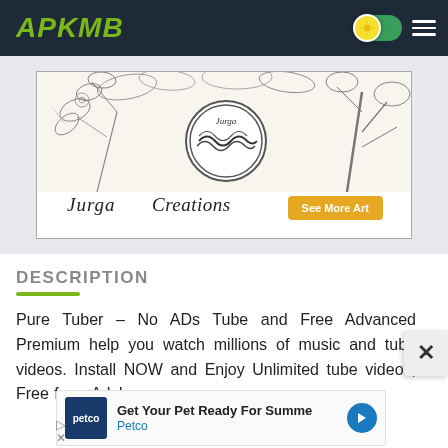APKMB
[Figure (illustration): Jurga Creations art advertisement banner with botanical pencil sketch illustration of flowers and branches, circular logo with yarn/wave design, and 'See More Art' yellow button]
DESCRIPTION
Pure Tuber – No ADs Tube and Free Advanced Premium help you watch millions of music and tube videos. Install NOW and Enjoy Unlimited tube videos, Free from Ads!
[Figure (advertisement): Petco advertisement: 'Get Your Pet Ready For Summe' with Petco logo and blue arrow button]